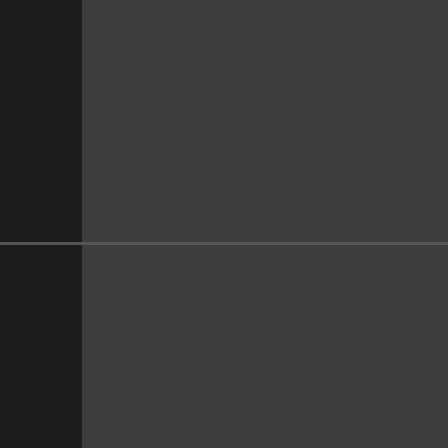California to run our sta...
But apparently that “wok... surrendering so easily!
"Holy shit, I ask you to stop beir autistic is." - spasm
Originally Posted by L... WTF I hate white people
Johns Hopkins CSSE COVID-1...
May 1 2022, 04:07:27 AM
Nax
Join Date: April 10, 2011
Posts: 1,504
Pretty sure DeSantis is trying to... presidential primaries in '23 anc... (DeSantis for President to fix th... judiciary and fight the lefty Com... corrupting our children.)

If he can go into the primaries w... warrior bs and name recognition... or 3 standing, will pick up m...